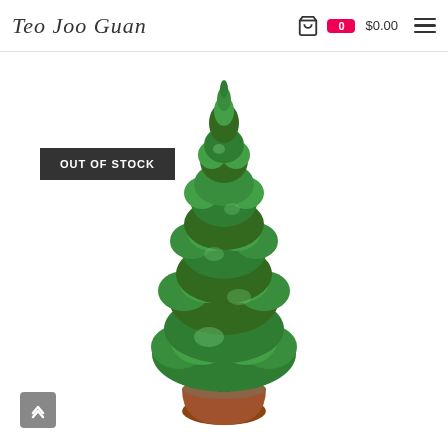Teo Joo Guan  🛒 0  $0.00  ☰
OUT OF STOCK
[Figure (photo): A potted cypress/conifer tree (Leyland cypress or similar) with bright green, dense foliage in a conical shape, planted in a terracotta pot, photographed against a white background.]
↑ (back to top button)